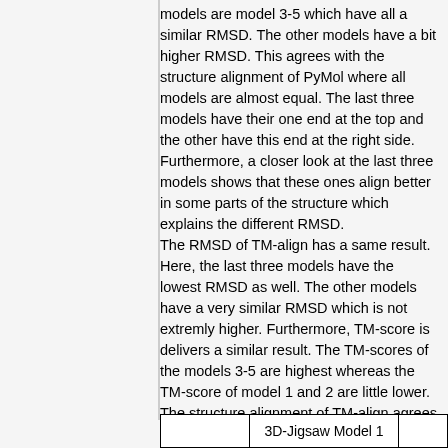models are model 3-5 which have all a similar RMSD. The other models have a bit higher RMSD. This agrees with the structure alignment of PyMol where all models are almost equal. The last three models have their one end at the top and the other have this end at the right side. Furthermore, a closer look at the last three models shows that these ones align better in some parts of the structure which explains the different RMSD.
The RMSD of TM-align has a same result. Here, the last three models have the lowest RMSD as well. The other models have a very similar RMSD which is not extremly higher. Furthermore, TM-score is delivers a similar result. The TM-scores of the models 3-5 are highest whereas the TM-score of model 1 and 2 are little lower. The structure alignment of TM-align agrees with the TM-score and the RMSD as well as with the structure alignment of PyMol. It has therefore the same explanations.
|  | 3D-Jigsaw Model 1 |  |
| --- | --- | --- |